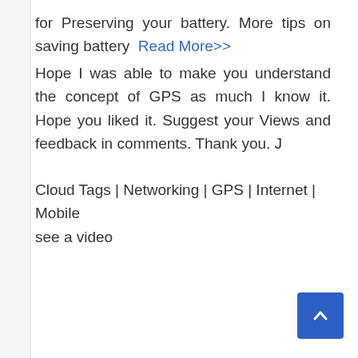for Preserving your battery. More tips on saving battery Read More>>
Hope I was able to make you understand the concept of GPS as much I know it. Hope you liked it. Suggest your Views and feedback in comments. Thank you. J
Cloud Tags | Networking | GPS | Internet | Mobile
see a video